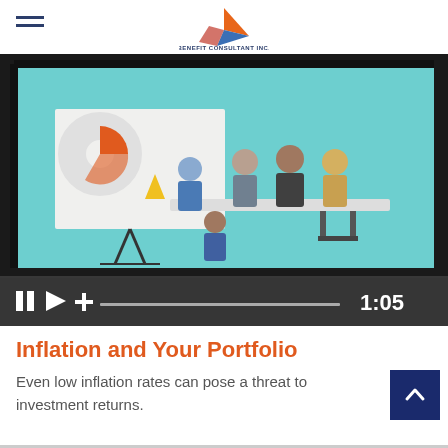Benefit Consultant Inc. logo and navigation
[Figure (screenshot): Video player showing an animated illustration of a business meeting on a tablet screen, with playback controls showing pause, play, and plus buttons with a progress bar and timestamp 1:05]
Inflation and Your Portfolio
Even low inflation rates can pose a threat to investment returns.